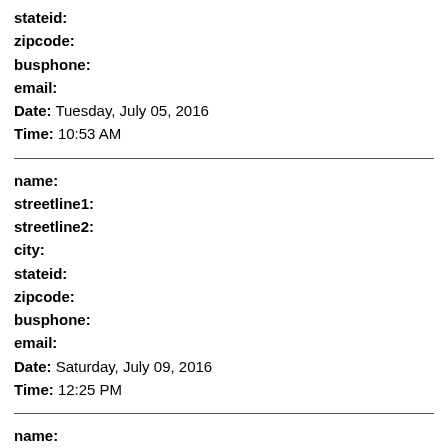stateid:
zipcode:
busphone:
email:
Date: Tuesday, July 05, 2016
Time: 10:53 AM
name:
streetline1:
streetline2:
city:
stateid:
zipcode:
busphone:
email:
Date: Saturday, July 09, 2016
Time: 12:25 PM
name:
streetline1:
streetline2:
city:
stateid:
zipcode: